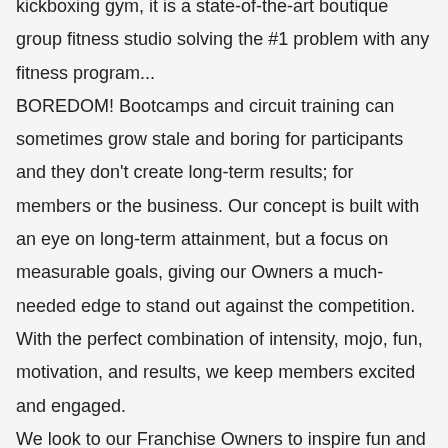kickboxing gym, it is a state-of-the-art boutique group fitness studio solving the #1 problem with any fitness program... BOREDOM! Bootcamps and circuit training can sometimes grow stale and boring for participants and they don't create long-term results; for members or the business. Our concept is built with an eye on long-term attainment, but a focus on measurable goals, giving our Owners a much-needed edge to stand out against the competition. With the perfect combination of intensity, mojo, fun, motivation, and results, we keep members excited and engaged. We look to our Franchise Owners to inspire fun and fitness in their communities and